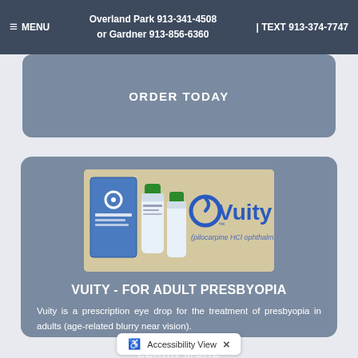≡ MENU  Overland Park 913-341-4508 or Gardner 913-856-6360  | TEXT 913-374-7747
ORDER TODAY
[Figure (photo): Vuity (pilocarpine HCl ophthalmic solution) 1.25% product box and eye drop bottle with logo]
VUITY - FOR ADULT PRESBYOPIA
Vuity is a prescription eye drop for the treatment of presbyopia in adults (age-related blurry near vision).
LEARN MORE
Accessibility View  ×